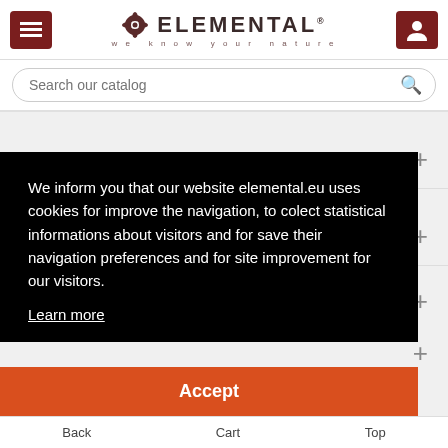ELEMENTAL — we know your nature
Search our catalog
Resources +
Newsletter +
We inform you that our website elemental.eu uses cookies for improve the navigation, to colect statistical informations about visitors and for save their navigation preferences and for site improvement for our visitors. Learn more
Accept
Back   Cart   Top